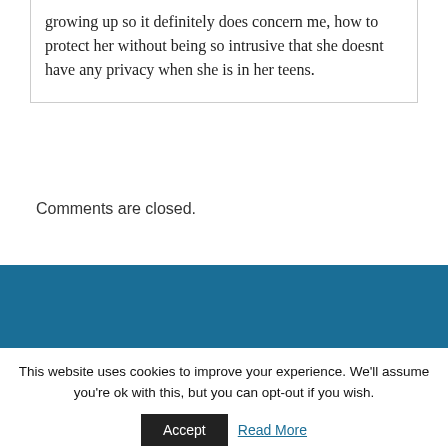growing up so it definitely does concern me, how to protect her without being so intrusive that she doesnt have any privacy when she is in her teens.
Comments are closed.
The Sensory Seeker Blog
This website uses cookies to improve your experience. We'll assume you're ok with this, but you can opt-out if you wish.